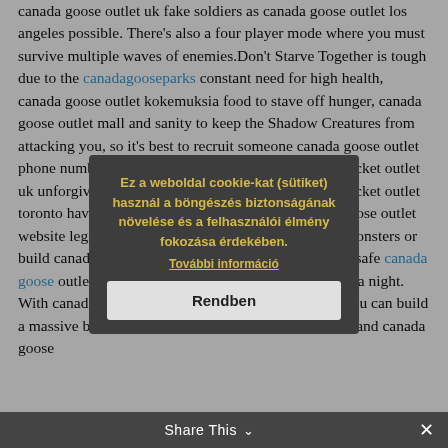canada goose outlet uk fake soldiers as canada goose outlet los angeles possible. There's also a four player mode where you must survive multiple waves of enemies.Don't Starve Together is tough due to the canadagooseparks constant need for high health, canada goose outlet kokemuksia food to stave off hunger, canada goose outlet mall and sanity to keep the Shadow Creatures from attacking you, so it's best to recruit someone canada goose outlet phone number to help you survive the canada goose jacket outlet uk unforgiving wilderness. You'll also canada goose jacket outlet toronto have to find assets in order to create canada goose outlet website legit tools and items that will help you fight monsters or build canada goose outlet miami a shelter to keep you safe canada goose outlet during the canada goose outlet mississauga night. With canada goose outlet usa the help of your party, you can build a massive base to keep everyone protected and happy. and canada goose
[Figure (screenshot): Cookie consent modal overlay with dark semi-transparent background. Modal box in dark grey with yellow/gold bold text in Hungarian: 'Ez a weboldal cookie-kat (sütiket) használ a böngészés biztonságának növelése és a felhasználói élmény fokozása érdekében.' followed by underlined 'További információ' link and a light grey 'Rendben' button.]
Share This ∨  ✕